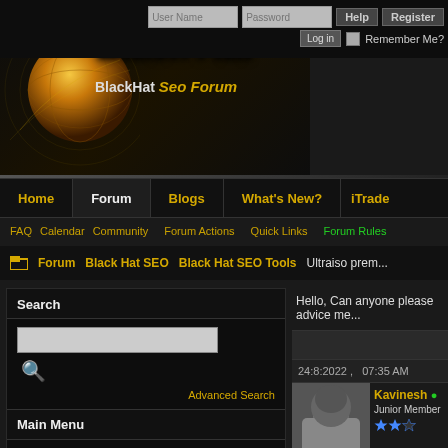[Figure (screenshot): Black Hat SEO Forum logo with golden globe and gold/orange 'Black Hat' text and 'BlackHat Seo Forum' subtitle on dark background]
User Name | Password | Help | Register | Log in | Remember Me?
Home | Forum | Blogs | What's New? | iTrade
FAQ  Calendar  Community  Forum Actions  Quick Links  Forum Rules
Forum  Black Hat SEO  Black Hat SEO Tools  Ultraiso prem...
Search
Advanced Search
Main Menu
Home
Main Forums
Hello, Can anyone please advice me...
24:8:2022 ,   07:35 AM
Kavinesh
Junior Member